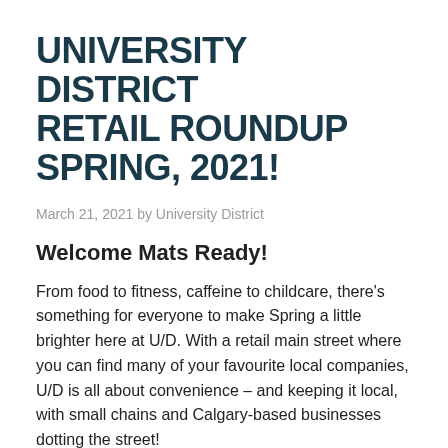UNIVERSITY DISTRICT RETAIL ROUNDUP SPRING, 2021!
March 21, 2021 by University District
Welcome Mats Ready!
From food to fitness, caffeine to childcare, there's something for everyone to make Spring a little brighter here at U/D. With a retail main street where you can find many of your favourite local companies, U/D is all about convenience – and keeping it local, with small chains and Calgary-based businesses dotting the street!
Whether it's health, fun, food or a treat, it's all here and it's